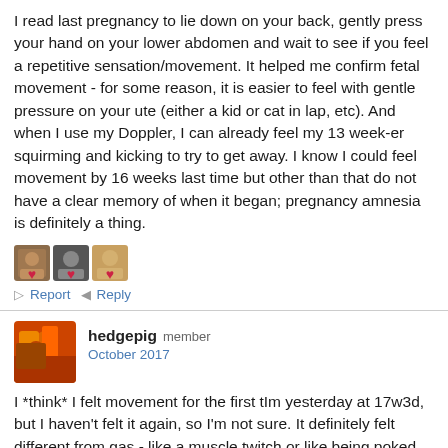I read last pregnancy to lie down on your back, gently press your hand on your lower abdomen and wait to see if you feel a repetitive sensation/movement. It helped me confirm fetal movement - for some reason, it is easier to feel with gentle pressure on your ute (either a kid or cat in lap, etc). And when I use my Doppler, I can already feel my 13 week-er squirming and kicking to try to get away. I know I could feel movement by 16 weeks last time but other than that do not have a clear memory of when it began; pregnancy amnesia is definitely a thing.
[Figure (illustration): Three small avatar images with heart reaction icons overlaid]
Report   Reply
hedgepig member
October 2017
I *think* I felt movement for the first tIm yesterday at 17w3d, but I haven't felt it again, so I'm not sure. It definitely felt different from gas - like a muscle twitch or like being poked